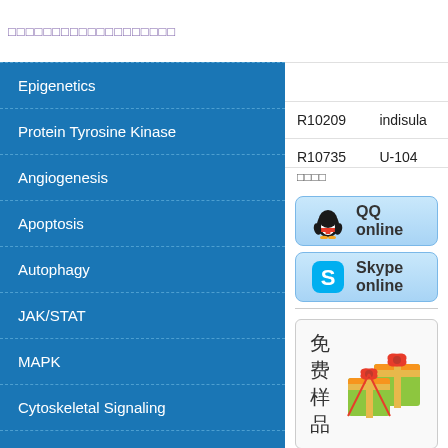□□□□□□□□□□□□□□□□□□□
Epigenetics
Protein Tyrosine Kinase
Angiogenesis
Apoptosis
Autophagy
JAK/STAT
MAPK
Cytoskeletal Signaling
Cell Cycle
TGF-beta/Smad
DNA Damage
Stem Cells & Wnt
| ID | Name |
| --- | --- |
| R10209 | indisula |
| R10735 | U-104 |
[Figure (screenshot): QQ online button with penguin icon]
[Figure (screenshot): Skype online button with Skype S logo]
[Figure (illustration): Free sample promotion box with gift boxes image and Chinese text 免费样品]